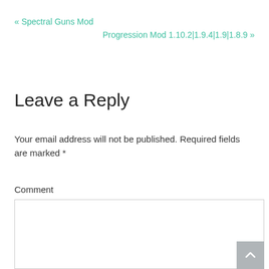« Spectral Guns Mod
Progression Mod 1.10.2|1.9.4|1.9|1.8.9 »
Leave a Reply
Your email address will not be published. Required fields are marked *
Comment